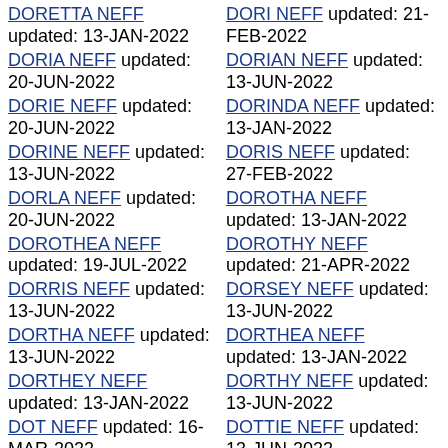DORETTA NEFF updated: 13-JAN-2022
DORIA NEFF updated: 20-JUN-2022
DORIE NEFF updated: 20-JUN-2022
DORINE NEFF updated: 13-JUN-2022
DORLA NEFF updated: 20-JUN-2022
DOROTHEA NEFF updated: 19-JUL-2022
DORRIS NEFF updated: 13-JUN-2022
DORTHA NEFF updated: 13-JUN-2022
DORTHEY NEFF updated: 13-JAN-2022
DOT NEFF updated: 16-MAR-2022
DORI NEFF updated: 21-FEB-2022
DORIAN NEFF updated: 13-JUN-2022
DORINDA NEFF updated: 13-JAN-2022
DORIS NEFF updated: 27-FEB-2022
DOROTHA NEFF updated: 13-JAN-2022
DOROTHY NEFF updated: 21-APR-2022
DORSEY NEFF updated: 13-JUN-2022
DORTHEA NEFF updated: 13-JAN-2022
DORTHY NEFF updated: 13-JUN-2022
DOTTIE NEFF updated: 13-JUN-2022